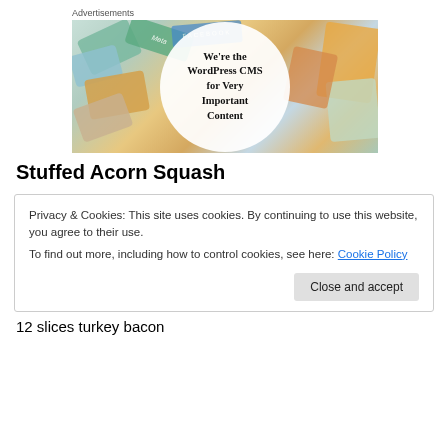Advertisements
[Figure (illustration): Advertisement banner showing colorful overlapping cards/documents with logos including Meta and Facebook, with a white circle in the center containing the text "We're the WordPress CMS for Very Important Content"]
Stuffed Acorn Squash
Privacy & Cookies: This site uses cookies. By continuing to use this website, you agree to their use.
To find out more, including how to control cookies, see here: Cookie Policy
[Close and accept button]
12 slices turkey bacon